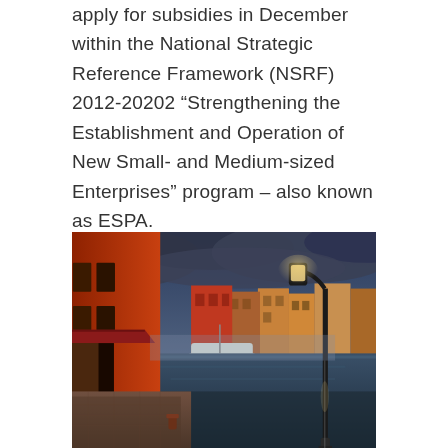apply for subsidies in December within the National Strategic Reference Framework (NSRF) 2012-20202 “Strengthening the Establishment and Operation of New Small- and Medium-sized Enterprises” program – also known as ESPA.
[Figure (photo): HDR photograph of a colorful Mediterranean harbor town (likely Rethymno, Crete, Greece) on a stormy day. Vibrant red and orange building facades line a wet cobblestone waterfront promenade. A tall black street lamp stands prominently on the right. Boats are moored in the harbor with dramatic dark storm clouds overhead.]